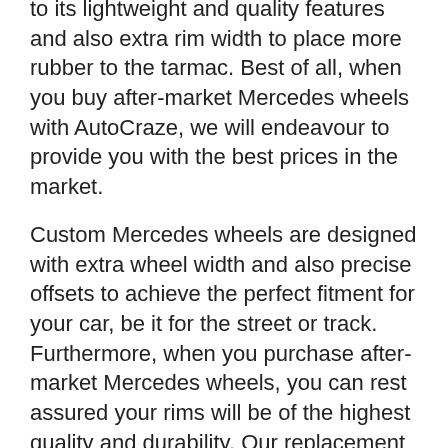to its lightweight and quality features and also extra rim width to place more rubber to the tarmac. Best of all, when you buy after-market Mercedes wheels with AutoCraze, we will endeavour to provide you with the best prices in the market.
Custom Mercedes wheels are designed with extra wheel width and also precise offsets to achieve the perfect fitment for your car, be it for the street or track. Furthermore, when you purchase after-market Mercedes wheels, you can rest assured your rims will be of the highest quality and durability. Our replacement Mercedes wheels also caters for larger brake calliper clearance. With many styles available, from concave, dish and even OEM style wheels, tribute your pride and joy and purchase your next set of Mercedes wheels with AutoCraze!
Furthermore, you can buy from us in confidence knowing that all after-market Mercedes wheels are tested in factory, inclusive and equal to the most...